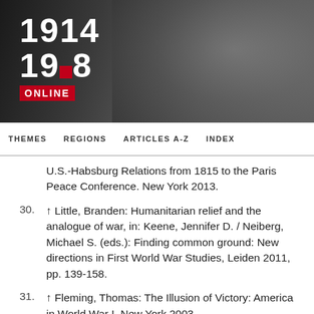[Figure (logo): 1914-1918 Online logo with red ONLINE badge on dark photographic background]
THEMES   REGIONS   ARTICLES A-Z   INDEX
U.S.-Habsburg Relations from 1815 to the Paris Peace Conference. New York 2013.
30. ↑ Little, Branden: Humanitarian relief and the analogue of war, in: Keene, Jennifer D. / Neiberg, Michael S. (eds.): Finding common ground: New directions in First World War Studies, Leiden 2011, pp. 139-158.
31. ↑ Fleming, Thomas: The Illusion of Victory: America in World War I, New York 2003.